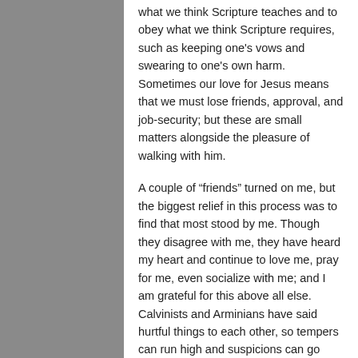what we think Scripture teaches and to obey what we think Scripture requires, such as keeping one's vows and swearing to one's own harm. Sometimes our love for Jesus means that we must lose friends, approval, and job-security; but these are small matters alongside the pleasure of walking with him.
A couple of “friends” turned on me, but the biggest relief in this process was to find that most stood by me. Though they disagree with me, they have heard my heart and continue to love me, pray for me, even socialize with me; and I am grateful for this above all else. Calvinists and Arminians have said hurtful things to each other, so tempers can run high and suspicions can go deep. But I have felt no conceit or contempt in this journey. I disagree with them, but in their numbers are some of the finest men and women I have ever known. By God’s grace, I pray that my